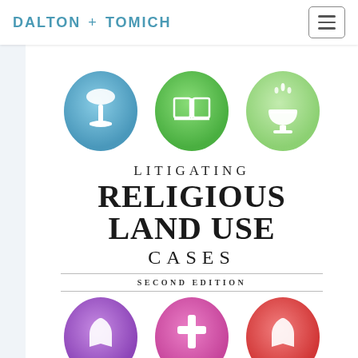DALTON + TOMICH
[Figure (illustration): Book cover for 'Litigating Religious Land Use Cases, Second Edition' with watercolor circle icons depicting religious symbols (chalice, open book, baptismal font, praying hands, cross, praying hands again) in blue, green, light green, purple, pink/magenta, and red circles]
LITIGATING RELIGIOUS LAND USE CASES SECOND EDITION